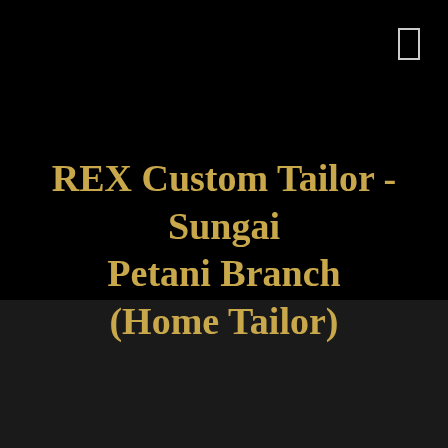REX Custom Tailor -Sungai Petani Branch (Home Tailor)